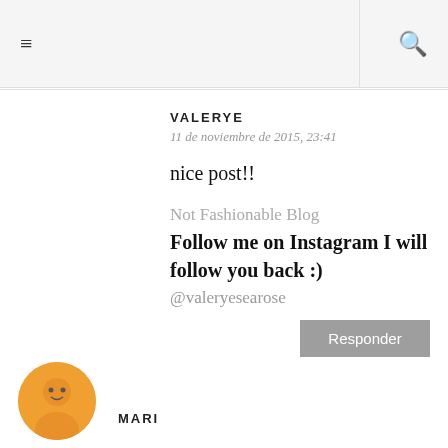≡  🔍
VALERYE
11 de noviembre de 2015, 23:41
nice post!!
Not Fashionable Blog
Follow me on Instagram I will follow you back :)
@valeryesearose
Responder
MARI